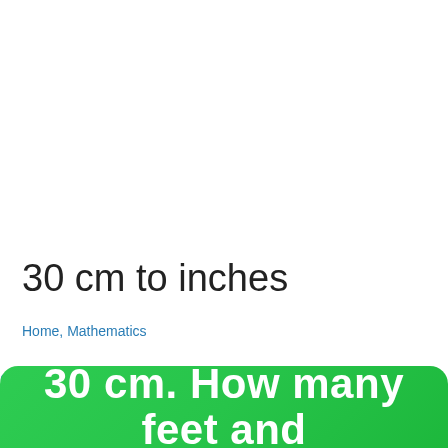30 cm to inches
Home, Mathematics
Come friends today how we convert 30 cm to inches. So let's get started.
30 cm. How many feet and